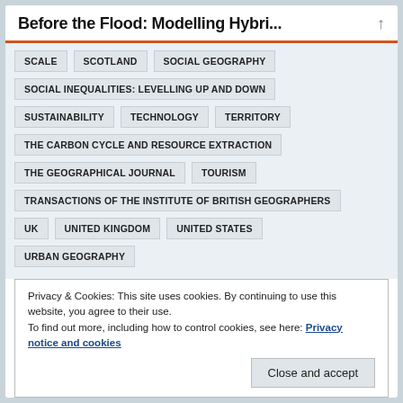Before the Flood: Modelling Hybri...
SCALE
SCOTLAND
SOCIAL GEOGRAPHY
SOCIAL INEQUALITIES: LEVELLING UP AND DOWN
SUSTAINABILITY
TECHNOLOGY
TERRITORY
THE CARBON CYCLE AND RESOURCE EXTRACTION
THE GEOGRAPHICAL JOURNAL
TOURISM
TRANSACTIONS OF THE INSTITUTE OF BRITISH GEOGRAPHERS
UK
UNITED KINGDOM
UNITED STATES
URBAN GEOGRAPHY
Privacy & Cookies: This site uses cookies. By continuing to use this website, you agree to their use.
To find out more, including how to control cookies, see here: Privacy notice and cookies
Close and accept